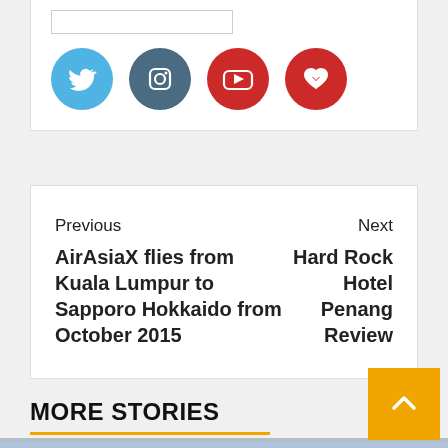[Figure (other): Social media icons: Twitter (blue), Instagram (dark blue), YouTube (red), Klook (red) as circular buttons]
Previous
AirAsiaX flies from Kuala Lumpur to Sapporo Hokkaido from October 2015
Next
Hard Rock Hotel Penang Review
MORE STORIES
[Figure (photo): Landscape photo of misty mountains with cloudy sky]